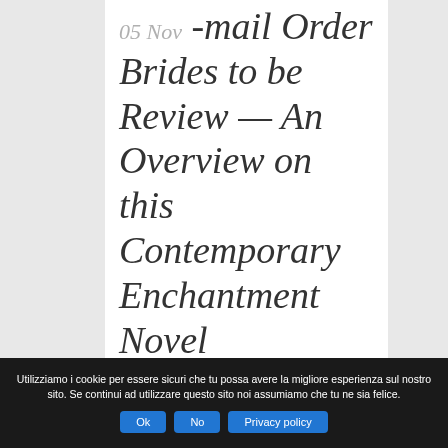05 Nov -mail Order Brides to be Review — An Overview on this Contemporary Enchantment Novel
Utilizziamo i cookie per essere sicuri che tu possa avere la migliore esperienza sul nostro sito. Se continui ad utilizzare questo sito noi assumiamo che tu ne sia felice.